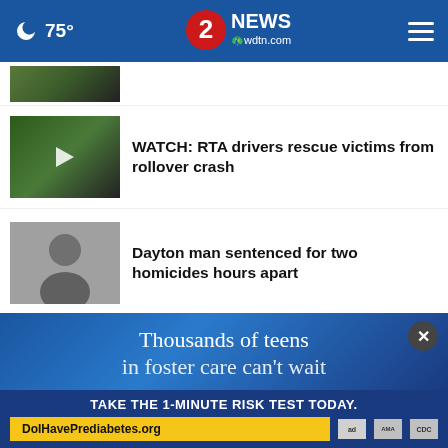75° | 2 NEWS wdtn.com
[partial story headline clipped]
WATCH: RTA drivers rescue victims from rollover crash
Dayton man sentenced for two homicides hours apart
More Stories ›
[Figure (advertisement): Ad banner: 'Thousands of teens in foster care can't wait' with close button. Bottom bar: 'TAKE THE 1-MINUTE RISK TEST TODAY.' with DoIHavePrediabetes.org, ad council, AMA, CDC logos.]